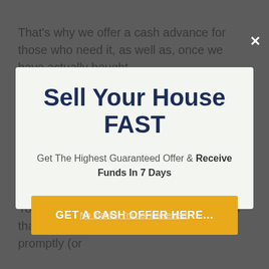That's why we offer a cash advance for those who need it, as well as, once we have actually bought
Sell Your House FAST
Get The Highest Guaranteed Offer & Receive Funds In 7 Days
GET A CASH OFFER HERE...
No thanks, I'm not interested!
You may have dealt with other companies that promise to acquire your residence promptly (or